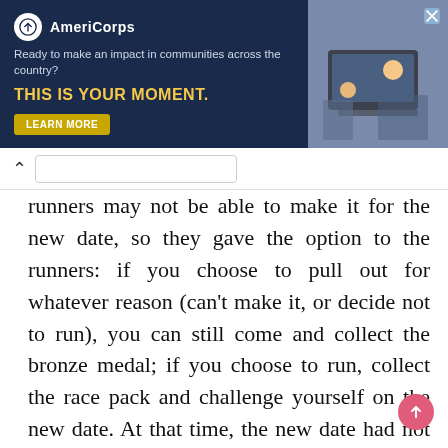[Figure (screenshot): AmeriCorps advertisement banner with dark navy background. Shows AmeriCorps logo, tagline 'Ready to make an impact in communities across the country?', headline 'THIS IS YOUR MOMENT.' in yellow, a 'LEARN MORE' button, and a photo of students with a computer on the right.]
runners may not be able to make it for the new date, so they gave the option to the runners: if you choose to pull out for whatever reason (can't make it, or decide not to run), you can still come and collect the bronze medal; if you choose to run, collect the race pack and challenge yourself on the new date. At that time, the new date had not been announced, so they offered flexibility to the runners who opted for the second option; if you can't make it, then come get your bronze medal anyway.
Among all the runs I signed up for that had